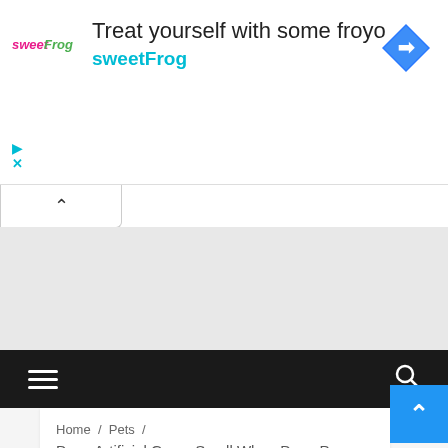[Figure (screenshot): SweetFrog advertisement banner with logo, headline text 'Treat yourself with some froyo', brand name 'sweetFrog', and a blue navigation arrow icon]
[Figure (screenshot): Gray content placeholder area with a white collapse/chevron button at top-left]
[Figure (screenshot): Dark navigation bar with hamburger menu icon on left and search icon on right, with a blue back-to-top button]
Home / Pets / Does Artificial Grass Smell When Dogs Poop